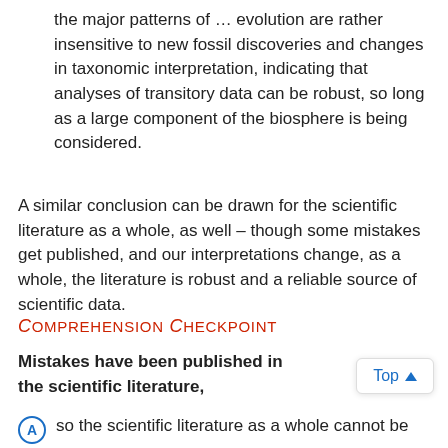the major patterns of … evolution are rather insensitive to new fossil discoveries and changes in taxonomic interpretation, indicating that analyses of transitory data can be robust, so long as a large component of the biosphere is being considered.
A similar conclusion can be drawn for the scientific literature as a whole, as well – though some mistakes get published, and our interpretations change, as a whole, the literature is robust and a reliable source of scientific data.
Comprehension Checkpoint
Mistakes have been published in the scientific literature,
so the scientific literature as a whole cannot be